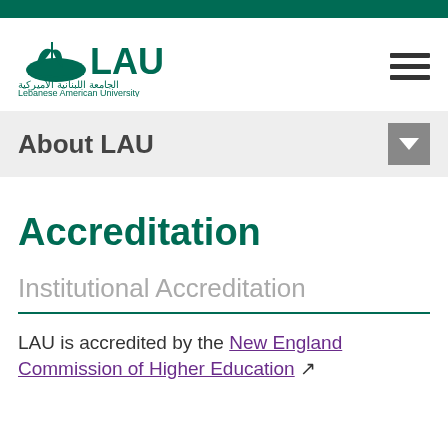[Figure (logo): LAU (Lebanese American University) logo with ship icon and Arabic text]
About LAU
Accreditation
Institutional Accreditation
LAU is accredited by the New England Commission of Higher Education